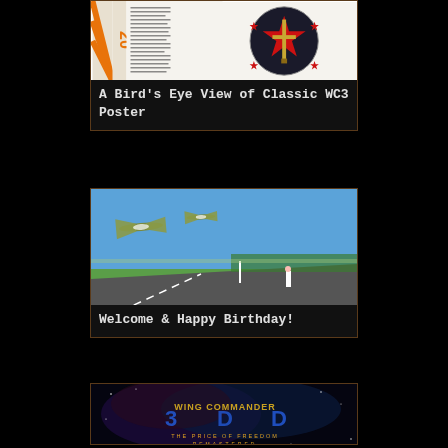[Figure (photo): Wing Commander 3 classic poster showing a circular emblem with red stars and a sword on white background, with document text visible on the left side]
A Bird's Eye View of Classic WC3 Poster
[Figure (photo): RC model aircraft (resembling Wing Commander spacecraft) flying low over an airfield runway with a person standing in background and green fields visible]
Welcome & Happy Birthday!
[Figure (photo): Wing Commander: Price of Freedom Remastered title card with space nebula background and stylized gold and blue logo text]